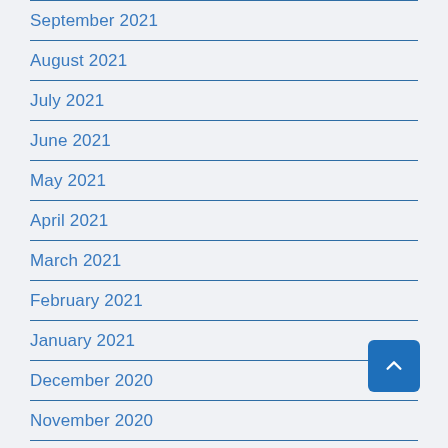September 2021
August 2021
July 2021
June 2021
May 2021
April 2021
March 2021
February 2021
January 2021
December 2020
November 2020
October 2020